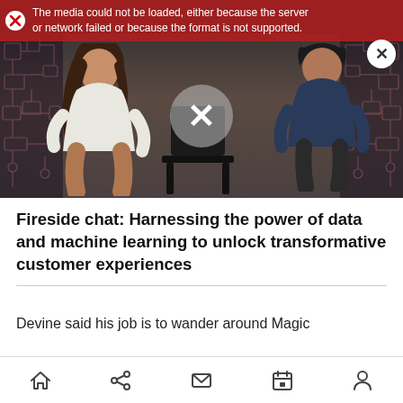[Figure (screenshot): Video player screenshot showing two people seated on stage at a conference with circuit board pattern backdrop. A media error overlay reads 'The media could not be loaded, either because the server or network failed or because the format is not supported.' A large X play button overlay is centered and a close X button is at top right.]
Fireside chat: Harnessing the power of data and machine learning to unlock transformative customer experiences
Devine said his job is to wander around Magic
Home | Share | Mail | Calendar | Person